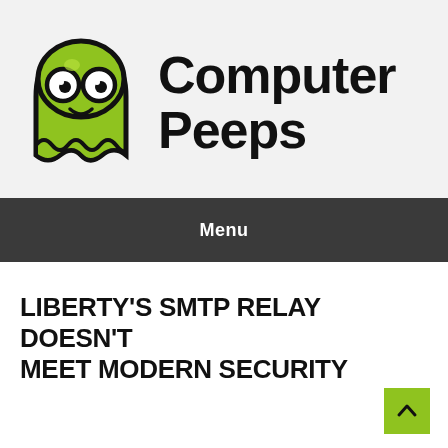[Figure (logo): Computer Peeps logo — green ghost mascot with large round eyes and wavy bottom, next to bold black text reading 'Computer Peeps']
Menu
LIBERTY'S SMTP RELAY DOESN'T MEET MODERN SECURITY